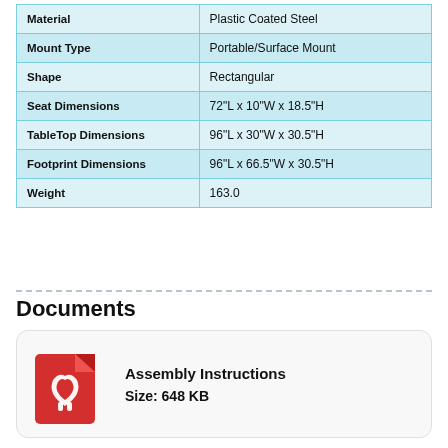| Property | Value |
| --- | --- |
| Material | Plastic Coated Steel |
| Mount Type | Portable/Surface Mount |
| Shape | Rectangular |
| Seat Dimensions | 72"L x 10"W x 18.5"H |
| TableTop Dimensions | 96"L x 30"W x 30.5"H |
| Footprint Dimensions | 96"L x 66.5"W x 30.5"H |
| Weight | 163.0 |
Documents
[Figure (other): Red PDF file icon with Adobe Acrobat reader logo]
Assembly Instructions
Size: 648 KB